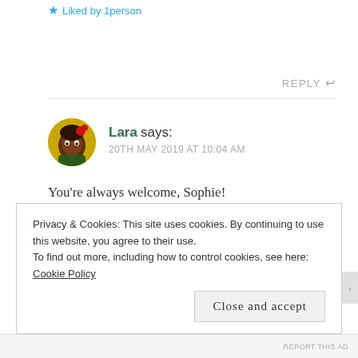★ Liked by 1person
REPLY ↩
Lara says:
20TH MAY 2019 AT 10:04 AM
You're always welcome, Sophie!
★ Like
Privacy & Cookies: This site uses cookies. By continuing to use this website, you agree to their use.
To find out more, including how to control cookies, see here: Cookie Policy
Close and accept